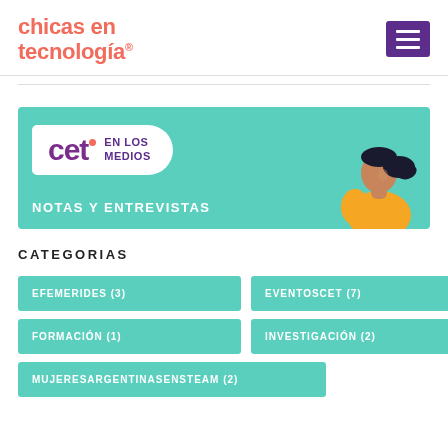chicas en tecnología
[Figure (illustration): Banner image for CET en los medios - Notas y Entrevistas, featuring teal background, white speech bubble with CET logo and 'EN LOS MEDIOS' text, and illustrated woman with dark hair in orange top]
CATEGORIAS
EFEMERIDES (3)
EVENTOSCET (7)
FORMACIÓN (1)
INVESTIGACIÓN (2)
MUJERESARGENTINASENSTEAM (2)